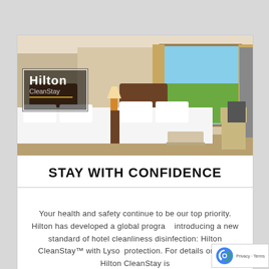[Figure (photo): Hotel room photo with Hilton CleanStay logo overlay. Double beds with white linens, warm tan decor, window with view of green landscape and blue sky.]
STAY WITH CONFIDENCE
Your health and safety continue to be our top priority. Hilton has developed a global program introducing a new standard of hotel cleanliness disinfection: Hilton CleanStay™ with Lysol protection. For details on how Hilton CleanStay is